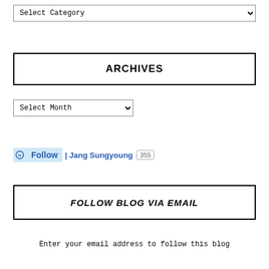Select Category
ARCHIVES
Select Month
[Figure (other): Follow button widget showing WordPress follow icon, 'Follow' text, '| Jang Sungyoung' blog name, and follower count badge '355']
FOLLOW BLOG VIA EMAIL
Enter your email address to follow this blog